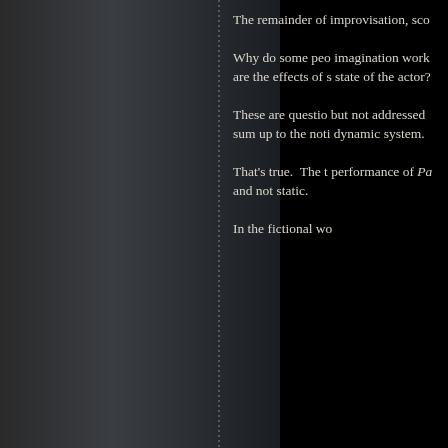[Figure (illustration): Dark left panel showing a book spine or page gutter area with a dotted/dashed vertical line indicating the book binding, dark metallic grey gradient texture]
The remainder of improvisation, sco
Why do some peo imagination work are the effects of s state of the actor?
These are questio but not addressed sum up to the noti dynamic system.
That's true.  The t performance of Pa and not static.
In the fictional wo